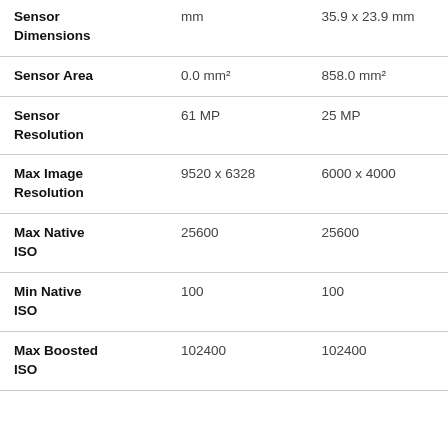|  |  |  |
| --- | --- | --- |
| Sensor Dimensions | mm | 35.9 x 23.9 mm |
| Sensor Area | 0.0 mm² | 858.0 mm² |
| Sensor Resolution | 61 MP | 25 MP |
| Max Image Resolution | 9520 x 6328 | 6000 x 4000 |
| Max Native ISO | 25600 | 25600 |
| Min Native ISO | 100 | 100 |
| Max Boosted ISO | 102400 | 102400 |